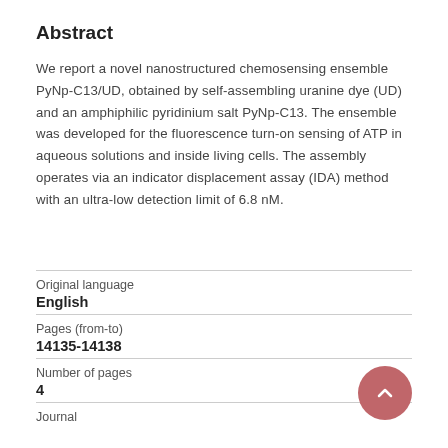Abstract
We report a novel nanostructured chemosensing ensemble PyNp-C13/UD, obtained by self-assembling uranine dye (UD) and an amphiphilic pyridinium salt PyNp-C13. The ensemble was developed for the fluorescence turn-on sensing of ATP in aqueous solutions and inside living cells. The assembly operates via an indicator displacement assay (IDA) method with an ultra-low detection limit of 6.8 nM.
| Original language | English |
| Pages (from-to) | 14135-14138 |
| Number of pages | 4 |
| Journal |  |